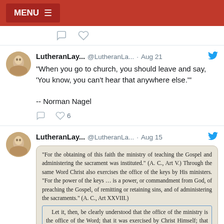MENU ≡
[Figure (screenshot): Tweet icons row: comment bubble and heart icons]
[Figure (screenshot): Tweet by LutheranLay... @LutheranLa... · Aug 21 with quote: "When you go to church, you should leave and say, 'You know, you can't hear that anywhere else.'" -- Norman Nagel. 6 likes.]
[Figure (screenshot): Tweet by LutheranLay... @LutheranLa... · Aug 15 with image of book text about ministry of teaching the Gospel and administering the sacrament.]